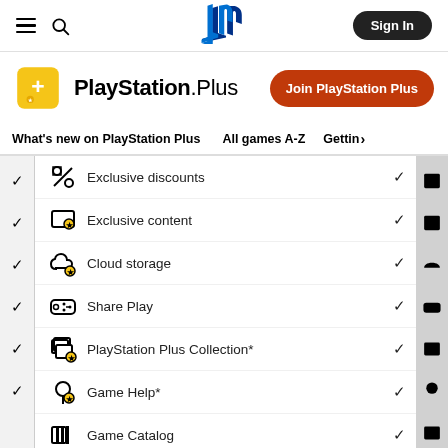PlayStation Plus website header with hamburger menu, search, PlayStation logo, and Sign In button
[Figure (logo): PlayStation logo in blue]
PlayStation.Plus
[Figure (logo): PlayStation Plus gold icon]
Join PlayStation Plus
What's new on PlayStation Plus | All games A-Z | Gettin>
Exclusive discounts ✓
Exclusive content ✓
Cloud storage ✓
Share Play ✓
PlayStation Plus Collection* ✓
Game Help* ✓
Game Catalog ✓
Ubisoft+ Classics ✓